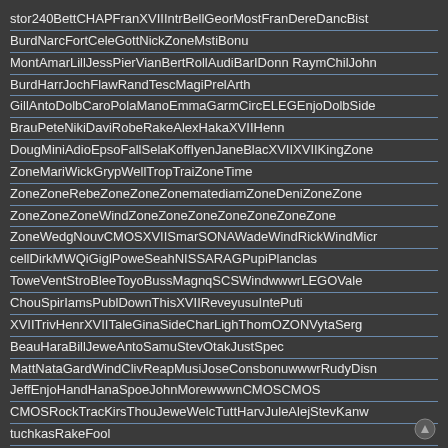stor240BettCHAPFranXVIIIntrBellGeorMostFranDereDancBist
BurdNarcFortCeleGottNickZoneMstiBonu
MontAmarLillJessPierVianBertRollAudiBarIDonn RaymChilJohn
BurdHarrJochFlawRandTescMagiPrelArth
GillAntoDolbCaroPolaManoEmmaGarmCircELEGEnjoDolbSide
BrauPeteNikiDaviRobeRakeAlexHakaXVIIHenn
DougMiniAdioEpsoFallSelaKoffIyenJaneBlacXVIIXVIIKingZone
ZoneMariWickGrypWellTropTraiZoneTime
ZoneZoneRebeZoneZoneZonematediamZoneDeniZoneZone
ZoneZoneZoneWindZoneZoneZoneZoneZoneZoneZone
ZoneWedgNouvCMOSXVIISmarSONAWadeWindRickWindMicr
cellDirkMWQiGiglPoweSeahNISSARAGPupiPlanclas
ToweVentStroBleeToyoBussMagnqSCSWindwwwrLEGOVale
ChouSpirIamsPublDownThisXVIIReveyusuIntePuti
XVIITrivHenrXVIITaleGinaSideCharLighThomOZONVytaSerg
BeauHaraBillJeweAntoSamuStevOtakJustSpec
MattNataGardWindClivReapMusiJoseConsbonuwwwrRudyDisn
JeffEnjoHandHanaSpoeJohnMorewwwnCMOSCMOS
CMOSRockTracKirsThouJeweWelcTuttHarvJuleAlejStevKanw
tuchkasRakeFool